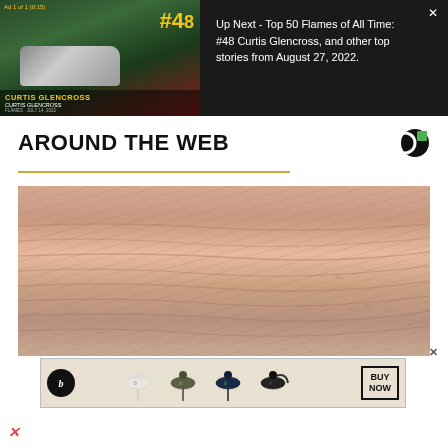[Figure (screenshot): Video player showing Curtis Glencross #48 Top 50 Flames of All Time with a truck advertisement. Ad label reads 'Ad 1 of 1 (0:15)'. Overlay shows hashtag #48.]
Up Next - Top 50 Flames of All Time: #48 Curtis Glencross, and other top stories from August 27, 2022.
AROUND THE WEB
[Figure (photo): Close-up photo of aged/wrinkled human skin, skin texture visible with spots.]
[Figure (screenshot): Beats by Dre advertisement banner showing multiple earphone styles in different colors with a 'BUY NOW' button.]
×